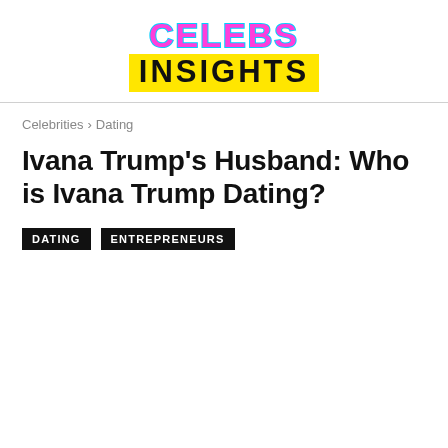[Figure (logo): Celebs Insights logo: 'CELEBS' in pink with cyan outline, 'INSIGHTS' in black on yellow background]
Celebrities › Dating
Ivana Trump's Husband: Who is Ivana Trump Dating?
DATING   ENTREPRENEURS